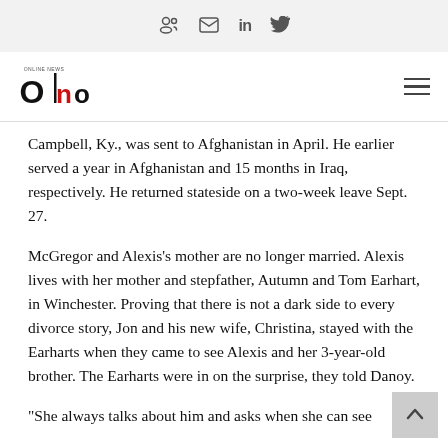Social share icons: group, email, LinkedIn, Twitter
[Figure (logo): ONO publication logo with stylized letters O, N, O in black and red]
Campbell, Ky., was sent to Afghanistan in April. He earlier served a year in Afghanistan and 15 months in Iraq, respectively. He returned stateside on a two-week leave Sept. 27.
McGregor and Alexis’s mother are no longer married. Alexis lives with her mother and stepfather, Autumn and Tom Earhart, in Winchester. Proving that there is not a dark side to every divorce story, Jon and his new wife, Christina, stayed with the Earharts when they came to see Alexis and her 3-year-old brother. The Earharts were in on the surprise, they told Danoy.
“She always talks about him and asks when she can see